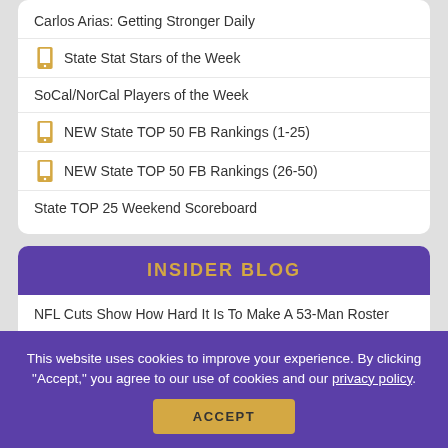Carlos Arias: Getting Stronger Daily
State Stat Stars of the Week
SoCal/NorCal Players of the Week
NEW State TOP 50 FB Rankings (1-25)
NEW State TOP 50 FB Rankings (26-50)
State TOP 25 Weekend Scoreboard
INSIDER BLOG
NFL Cuts Show How Hard It Is To Make A 53-Man Roster
Medium/Small School Teams of Week
Medium/Small School Teams of Week
Boys BB: Major Showcase Schedules
This website uses cookies to improve your experience. By clicking "Accept," you agree to our use of cookies and our privacy policy.